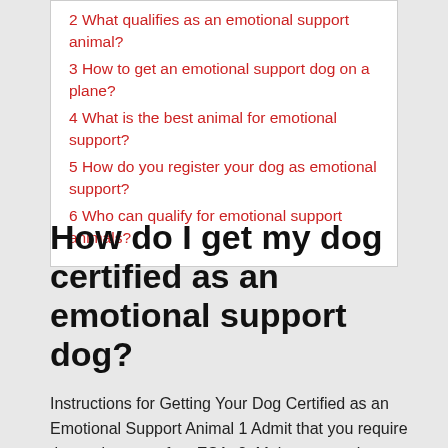2 What qualifies as an emotional support animal?
3 How to get an emotional support dog on a plane?
4 What is the best animal for emotional support?
5 How do you register your dog as emotional support?
6 Who can qualify for emotional support animals?
How do I get my dog certified as an emotional support dog?
Instructions for Getting Your Dog Certified as an Emotional Support Animal 1 Admit that you require the assistance of an ESA. 2. Make an appointment with a qualified counselor or